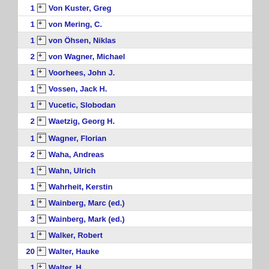1 Von Kuster, Greg
1 von Mering, C.
1 von Öhsen, Niklas
2 von Wagner, Michael
1 Voorhees, John J.
1 Vossen, Jack H.
1 Vucetic, Slobodan
2 Waetzig, Georg H.
1 Wagner, Florian
2 Waha, Andreas
1 Wahn, Ulrich
1 Wahrheit, Kerstin
1 Wainberg, Marc (ed.)
3 Wainberg, Mark (ed.)
1 Walker, Robert
20 Walter, Hauke
1 Walter, H.
7 Walter, Jörn
1 Wang, Hongyun
1 Wang, Jun
1 Wang, Ting
1 Wang, Yalan